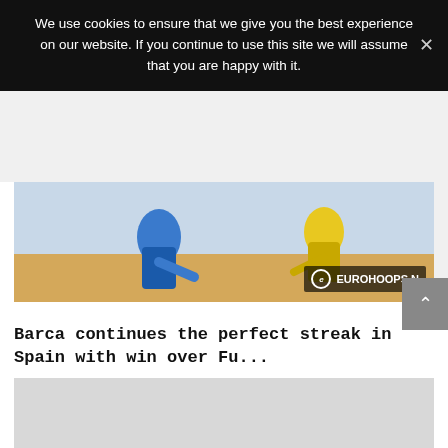We use cookies to ensure that we give you the best experience on our website. If you continue to use this site we will assume that you are happy with it.
[Figure (photo): Basketball players on court with Eurohoops.net watermark in bottom right corner]
Barca continues the perfect streak in Spain with win over Fu...
November 13, 2021
[Figure (photo): Second article image placeholder, light gray]